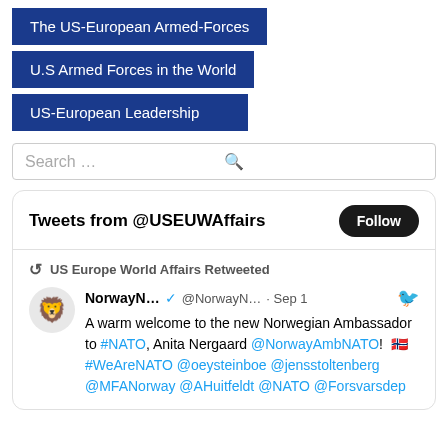The US-European Armed-Forces
U.S Armed Forces in the World
US-European Leadership
Search ...
Tweets from @USEUWAffairs Follow
US Europe World Affairs Retweeted
NorwayN... @NorwayN... · Sep 1
A warm welcome to the new Norwegian Ambassador to #NATO, Anita Nergaard @NorwayAmbNATO! 🇳🇴#WeAreNATO @oeysteinboe @jensstoltenberg @MFANorway @AHuitfeldt @NATO @Forsvarsdep